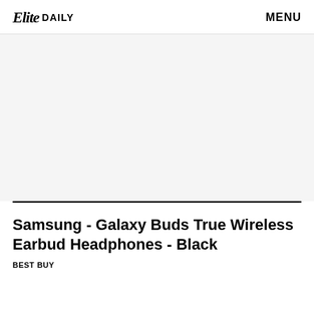Elite DAILY  MENU
[Figure (photo): Large light gray placeholder image area]
Samsung - Galaxy Buds True Wireless Earbud Headphones - Black
BEST BUY